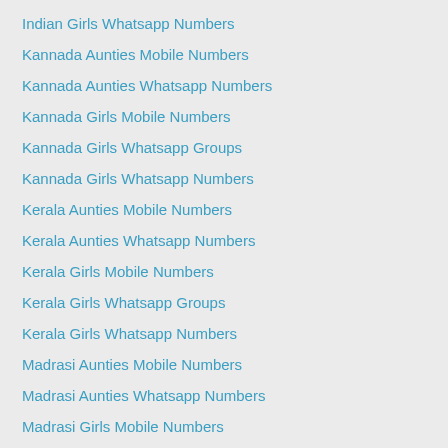Indian Girls Whatsapp Numbers
Kannada Aunties Mobile Numbers
Kannada Aunties Whatsapp Numbers
Kannada Girls Mobile Numbers
Kannada Girls Whatsapp Groups
Kannada Girls Whatsapp Numbers
Kerala Aunties Mobile Numbers
Kerala Aunties Whatsapp Numbers
Kerala Girls Mobile Numbers
Kerala Girls Whatsapp Groups
Kerala Girls Whatsapp Numbers
Madrasi Aunties Mobile Numbers
Madrasi Aunties Whatsapp Numbers
Madrasi Girls Mobile Numbers
Madrasi Girls Whatsapp Numbers